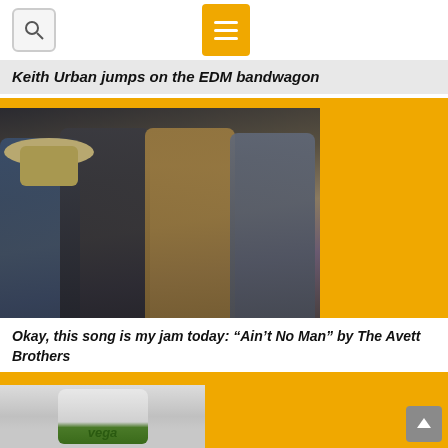Keith Urban jumps on the EDM bandwagon
[Figure (photo): Photo of The Avett Brothers — four men standing together against a striped backdrop]
Okay, this song is my jam today: “Ain’t No Man” by The Avett Brothers
[Figure (photo): Photo of a Vega protein powder container, green label]